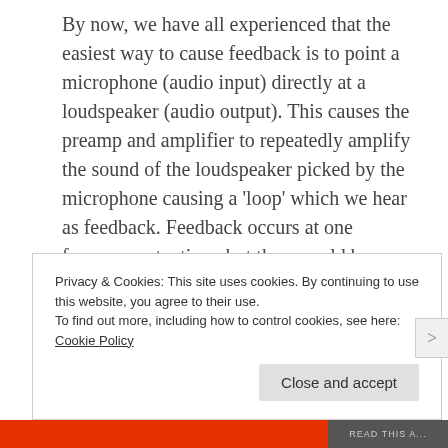By now, we have all experienced that the easiest way to cause feedback is to point a microphone (audio input) directly at a loudspeaker (audio output). This causes the preamp and amplifier to repeatedly amplify the sound of the loudspeaker picked by the microphone causing a 'loop' which we hear as feedback. Feedback occurs at one frequency at a time, but there could be multiple instances of feedback taking place at the same time at various frequencies.
[Figure (illustration): Partial diagram showing a curved arrow and a small triangle/cursor shape, partially obscured by a cookie consent banner]
Privacy & Cookies: This site uses cookies. By continuing to use this website, you agree to their use. To find out more, including how to control cookies, see here: Cookie Policy
Close and accept